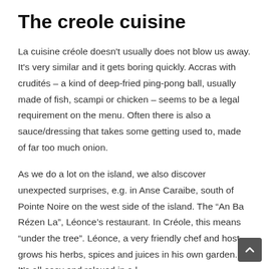The creole cuisine
La cuisine créole doesn't usually does not blow us away. It's very similar and it gets boring quickly. Accras with crudités – a kind of deep-fried ping-pong ball, usually made of fish, scampi or chicken – seems to be a legal requirement on the menu. Often there is also a sauce/dressing that takes some getting used to, made of far too much onion.
As we do a lot on the island, we also discover unexpected surprises, e.g. in Anse Caraibe, south of Pointe Noire on the west side of the island. The “An Ba Rézen La”, Léonce’s restaurant. In Créole, this means “under the tree”. Léonce, a very friendly chef and host, grows his herbs, spices and juices in his own garden. It’s all easy and relaxed in a laid back bay, the hummingbirds fluttering right next to the table, the pelicans and frigate birds fishing in the sea